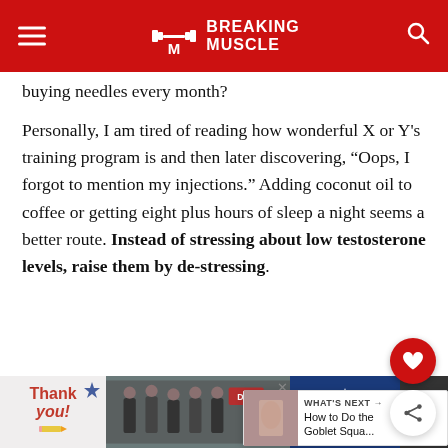Breaking Muscle
buying needles every month?
Personally, I am tired of reading how wonderful X or Y's training program is and then later discovering, “Oops, I forgot to mention my injections.” Adding coconut oil to coffee or getting eight plus hours of sleep a night seems a better route. Instead of stressing about low testosterone levels, raise them by de-stressing.
[Figure (screenshot): What's Next promotional widget showing 'How to Do the Goblet Squa...' with thumbnail]
[Figure (photo): Operation Gratitude advertisement banner at bottom of page with 'Thank you!' text and photo of firefighters/military personnel]